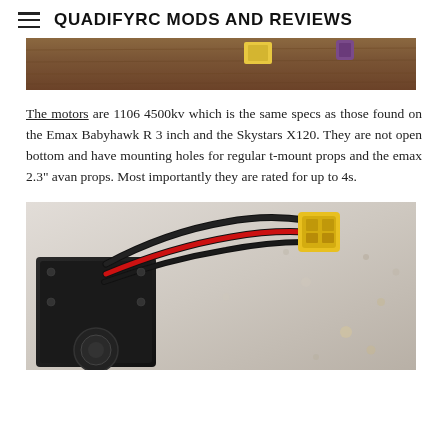QUADIFYRC MODS AND REVIEWS
[Figure (photo): Top portion of a photo showing a wooden table surface with partial view of RC components including a yellow/gold component and purple connector visible at top edge.]
The motors are 1106 4500kv which is the same specs as those found on the Emax Babyhawk R 3 inch and the Skystars X120. They are not open bottom and have mounting holes for regular t-mount props and the emax 2.3" avan props. Most importantly they are rated for up to 4s.
[Figure (photo): Photo of a drone/quadcopter component showing black motor/ESC assembly with red and black wires leading to a yellow XT connector, resting on a speckled granite-like surface.]